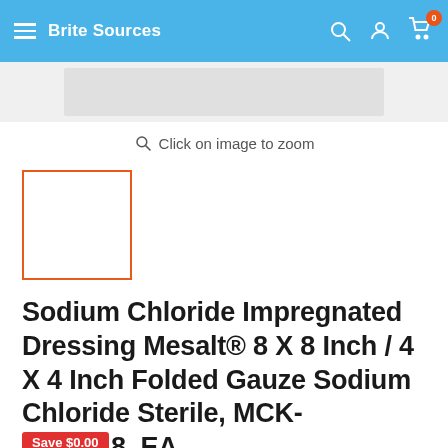Brite Sources
[Figure (screenshot): Top portion of a product image for Sodium Chloride Impregnated Dressing, shown as a grey/white partial image strip]
Click on image to zoom
[Figure (photo): Selected product thumbnail with orange/red border outline, white content area]
Sodium Chloride Impregnated Dressing Mesalt® 8 X 8 Inch / 4 X 4 Inch Folded Gauze Sodium Chloride Sterile, MCK-1095918_EA
Save $0.00